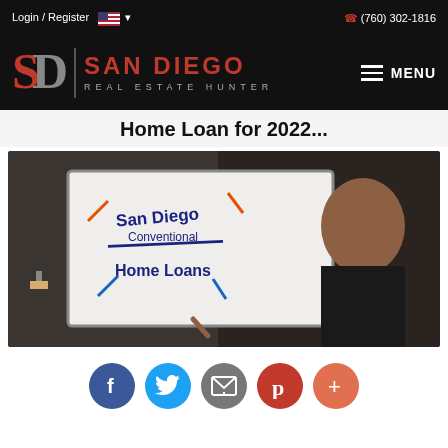Login / Register   (760) 302-1816
[Figure (logo): San Diego Real Estate Hunter logo with SD monogram in red on black background, with hamburger menu button]
Home Loan for 2022...
[Figure (screenshot): Video thumbnail showing a man holding a whiteboard that reads 'San Diego Conventional Home Loans' with arrows drawn in orange and blue marker]
[Figure (other): Social sharing buttons: Facebook (blue circle, f), Twitter (light blue circle, bird), Email (gray circle, envelope), Pinterest (red circle, P), More (orange circle, +)]